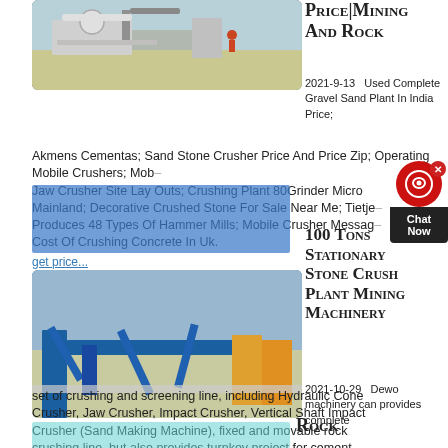[Figure (photo): Industrial machinery/plant equipment photo with date stamp 2012/09/13]
Price|Mining And Rock
2021-9-13  Used Complete Gravel Sand Plant In India Price; Akmens Cementas; Sand Stone Crusher Price And Price Zip; Operating Mobile Crushers; Mobile Jaw Crusher Site Lay Outs; Crushing Plant 80Grinder Micro Mainland; Decorative Crushed Stone For Sale Near Me; Tietje Produces 48 Types Of Hammer Mills; Mobile Crusher Message; Cost Of Crushing Concrete In Uk.
get price...
[Figure (photo): Large blue industrial stone crushing/screening plant machinery, date stamp 10/28/2019]
100 Tons Stationary Stone Crush Plant Mining Machinery
2021-10-29   Dewo machinery can provides complete set of crushing and screening line, including Hydraulic Cone Crusher, Jaw Crusher, Impact Crusher, Vertical Shaft Impact Crusher (Sand Making Machine), fixed and movable rock crushing line, but also provides turnkey project for cement
Rock